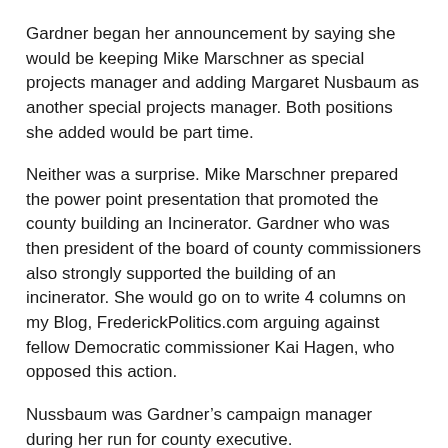Gardner began her announcement by saying she would be keeping Mike Marschner as special projects manager and adding Margaret Nusbaum as another special projects manager.  Both positions she added would be part time.
Neither was a surprise.  Mike Marschner prepared the power point presentation that promoted the county building an Incinerator.  Gardner who was then president of the board of county commissioners also strongly supported the building of an incinerator.  She would go on to write 4 columns on my Blog, FrederickPolitics.com arguing against fellow Democratic commissioner Kai Hagen, who opposed this action.
Nussbaum was Gardner’s campaign manager during her run for county executive.
Janice Spiegel was appointed to the new position of education liaison to work with the board of education and Frederick Community College as Jan put it.
Roger Wilson was named to a new position serving as government